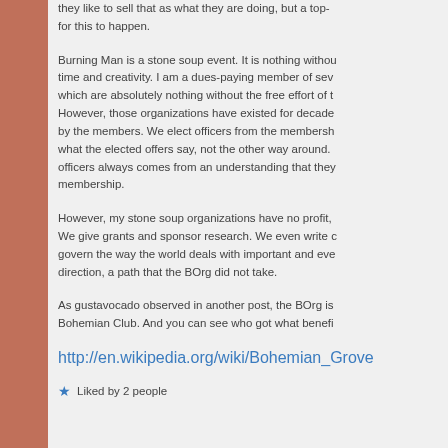they like to sell that as what they are doing, but a top- for this to happen.
Burning Man is a stone soup event. It is nothing withou time and creativity. I am a dues-paying member of sev which are absolutely nothing without the free effort of t However, those organizations have existed for decade by the members. We elect officers from the membersh what the elected offers say, not the other way around. officers always comes from an understanding that they membership.
However, my stone soup organizations have no profit, We give grants and sponsor research. We even write c govern the way the world deals with important and eve direction, a path that the BOrg did not take.
As gustavocado observed in another post, the BOrg is Bohemian Club. And you can see who got what benefi
http://en.wikipedia.org/wiki/Bohemian_Grove
Liked by 2 people